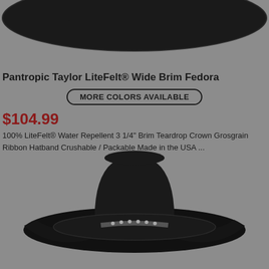[Figure (photo): Top portion of a black wide brim fedora hat viewed from above, shown against a gray background]
Pantropic Taylor LiteFelt® Wide Brim Fedora
MORE COLORS AVAILABLE
$104.99
100% LiteFelt® Water Repellent 3 1/4" Brim Teardrop Crown Grosgrain Ribbon Hatband Crushable / Packable Made in the USA ...
[Figure (photo): Black cowboy/western style hat with decorative studded hatband, shown at an angle against a gray background]